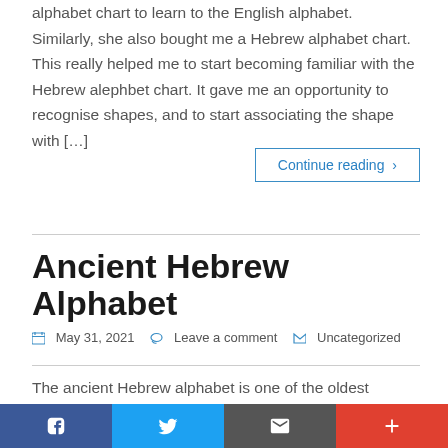alphabet chart to learn to the English alphabet. Similarly, she also bought me a Hebrew alphabet chart. This really helped me to start becoming familiar with the Hebrew alephbet chart. It gave me an opportunity to recognise shapes, and to start associating the shape with […]
Continue reading ›
Ancient Hebrew Alphabet
May 31, 2021   Leave a comment   Uncategorized
The ancient Hebrew alphabet is one of the oldest alphabets in the world. In fact, it is said to be the oldest